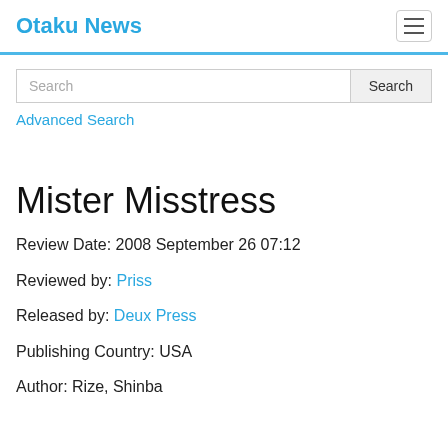Otaku News
Search
Advanced Search
Mister Misstress
Review Date: 2008 September 26 07:12
Reviewed by: Priss
Released by: Deux Press
Publishing Country: USA
Author: Rize, Shinba